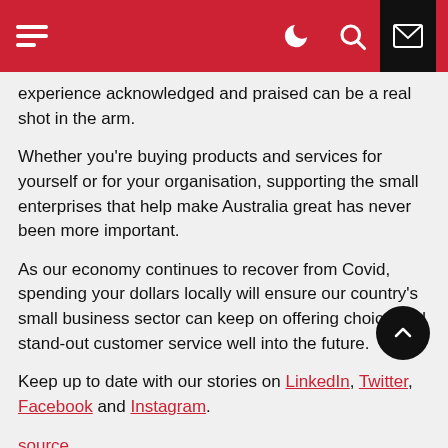[Navigation bar with hamburger menu, moon icon, search icon, mail icon]
experience acknowledged and praised can be a real shot in the arm.
Whether you’re buying products and services for yourself or for your organisation, supporting the small enterprises that help make Australia great has never been more important.
As our economy continues to recover from Covid, spending your dollars locally will ensure our country’s small business sector can keep on offering choice and stand-out customer service well into the future.
Keep up to date with our stories on LinkedIn, Twitter, Facebook and Instagram.
source
This post was aggregated from Dynamic Business (https://dynamicbusiness.com).
Share